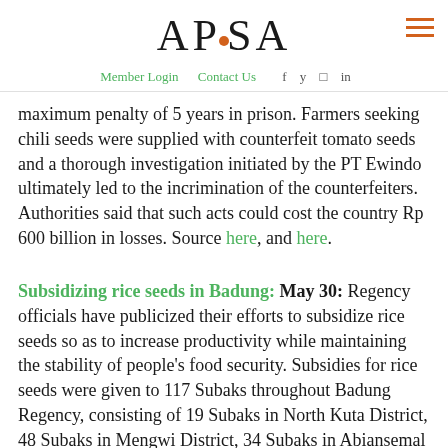APSA
Member Login   Contact Us
maximum penalty of 5 years in prison. Farmers seeking chili seeds were supplied with counterfeit tomato seeds and a thorough investigation initiated by the PT Ewindo ultimately led to the incrimination of the counterfeiters. Authorities said that such acts could cost the country Rp 600 billion in losses. Source here, and here.
Subsidizing rice seeds in Badung: May 30:
Regency officials have publicized their efforts to subsidize rice seeds so as to increase productivity while maintaining the stability of people's food security. Subsidies for rice seeds were given to 117 Subaks throughout Badung Regency, consisting of 19 Subaks in North Kuta District, 48 Subaks in Mengwi District, 34 Subaks in Abiansemal District, 16 Subaks in Petang